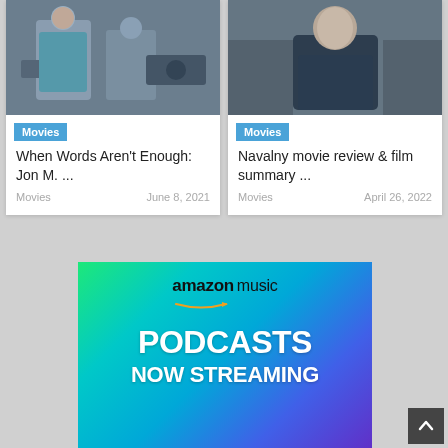[Figure (photo): Article card with photo showing people on a film set, tagged Movies. Title: When Words Aren't Enough: Jon M. ... Category: Movies, Date: June 8, 2021]
[Figure (photo): Article card with photo of a man in a dark jacket, tagged Movies. Title: Navalny movie review & film summary ... Category: Movies, Date: April 26, 2022]
[Figure (advertisement): Amazon Music advertisement with gradient background. Text: amazon music, PODCASTS NOW STREAMING]